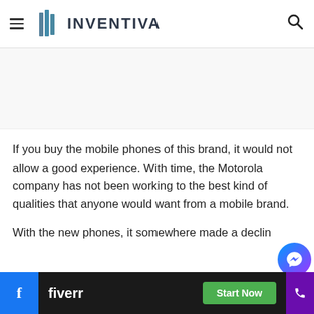INVENTIVA
[Figure (other): Advertisement placeholder area (blank/grey)]
If you buy the mobile phones of this brand, it would not allow a good experience. With time, the Motorola company has not been working to the best kind of qualities that anyone would want from a mobile brand.
With the new phones, it somewhere made a declin...
[Figure (other): Fiverr advertisement banner at bottom: fiverr logo with 'Start Now' green button, Facebook icon on left, close X button, Messenger bubble, purple phone strip]